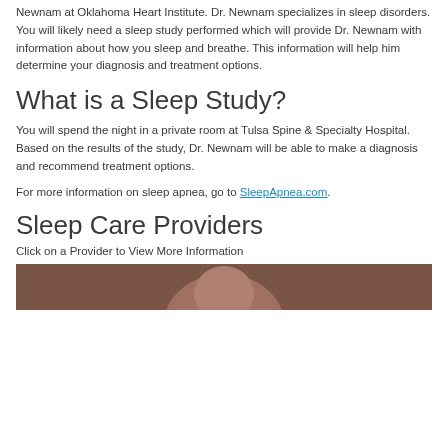Newnam at Oklahoma Heart Institute. Dr. Newnam specializes in sleep disorders. You will likely need a sleep study performed which will provide Dr. Newnam with information about how you sleep and breathe. This information will help him determine your diagnosis and treatment options.
What is a Sleep Study?
You will spend the night in a private room at Tulsa Spine & Specialty Hospital. Based on the results of the study, Dr. Newnam will be able to make a diagnosis and recommend treatment options.
For more information on sleep apnea, go to SleepApnea.com.
Sleep Care Providers
Click on a Provider to View More Information
[Figure (photo): Partial photo of a person (provider), bottom portion of image visible at page bottom]